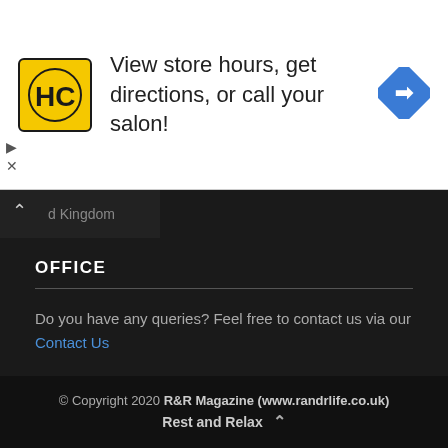[Figure (infographic): Advertisement banner with HC hair salon logo (black H and C letters on yellow background), text 'View store hours, get directions, or call your salon!', and a blue diamond-shaped navigation icon on the right. Small play and close (X) controls at bottom left.]
d Kingdom
OFFICE
Do you have any queries? Feel free to contact us via our Contact Us
© Copyright 2020 R&R Magazine (www.randrlife.co.uk) Rest and Relax